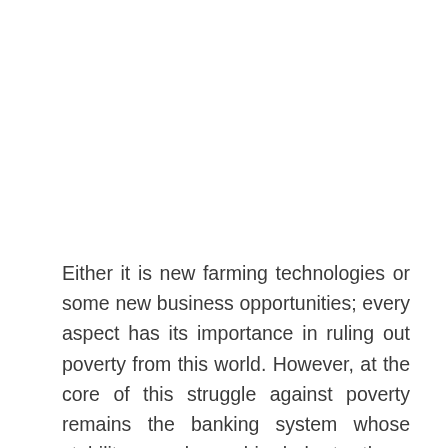Either it is new farming technologies or some new business opportunities; every aspect has its importance in ruling out poverty from this world. However, at the core of this struggle against poverty remains the banking system whose stability can be a big help to these people. Practical tools for saving, borrowing, lending and mitigating all kinds of financial risks will help in saving what is being achieved.